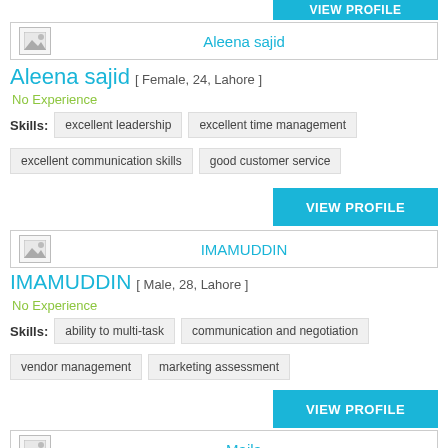[Figure (other): Partial VIEW PROFILE button at top right]
[Figure (other): Aleena sajid profile header with photo placeholder and name]
Aleena sajid [ Female, 24, Lahore ]
No Experience
Skills: excellent leadership   excellent time management   excellent communication skills   good customer service
[Figure (other): VIEW PROFILE button]
[Figure (other): IMAMUDDIN profile header with photo placeholder and name]
IMAMUDDIN [ Male, 28, Lahore ]
No Experience
Skills: ability to multi-task   communication and negotiation   vendor management   marketing assessment
[Figure (other): VIEW PROFILE button]
[Figure (other): Maila profile header with photo placeholder and name]
Maila [ Female, 29, Lahore ]
No Experience